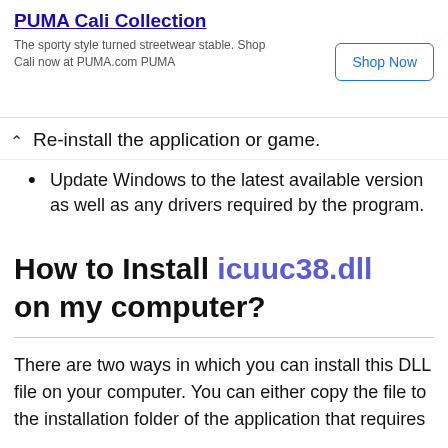[Figure (other): PUMA Cali Collection advertisement banner with 'Shop Now' button. Text: 'The sporty style turned streetwear stable. Shop Cali now at PUMA.com PUMA']
Re-install the application or game.
Update Windows to the latest available version as well as any drivers required by the program.
How to Install icuuc38.dll on my computer?
There are two ways in which you can install this DLL file on your computer. You can either copy the file to the installation folder of the application that requires